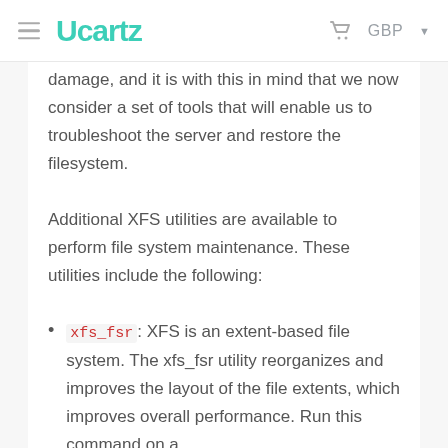Ucartz  GBP
damage, and it is with this in mind that we now consider a set of tools that will enable us to troubleshoot the server and restore the filesystem.
Additional XFS utilities are available to perform file system maintenance. These utilities include the following:
xfs_fsr: XFS is an extent-based file system. The xfs_fsr utility reorganizes and improves the layout of the file extents, which improves overall performance. Run this command on a